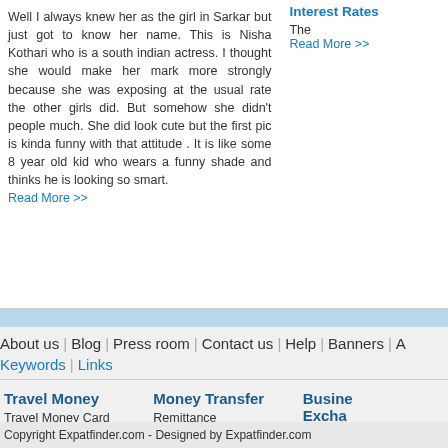Well I always knew her as the girl in Sarkar but just got to know her name. This is Nisha Kothari who is a south indian actress. I thought she would make her mark more strongly because she was exposing at the usual rate the other girls did. But somehow she didn't people much. She did look cute but the first pic is kinda funny with that attitude . It is like some 8 year old kid who wears a funny shade and thinks he is looking so smart. Read More >>
Interest Rates
The
Read More >>
About us | Blog | Press room | Contact us | Help | Banners | A
Keywords | Links
Travel Money
Travel Money Card
Travel Money Exchange
Currency Converter
Money Transfer
Remittance
Foreign Exchange Broker
Voices
Daily
Business Exchange (Busine Excha)
Corpora
Catego
Copyright Expatfinder.com - Designed by Expatfinder.com